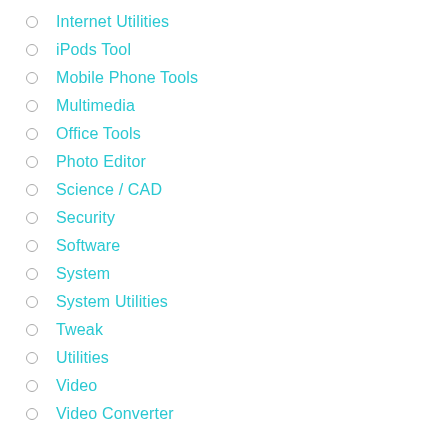Internet Utilities
iPods Tool
Mobile Phone Tools
Multimedia
Office Tools
Photo Editor
Science / CAD
Security
Software
System
System Utilities
Tweak
Utilities
Video
Video Converter